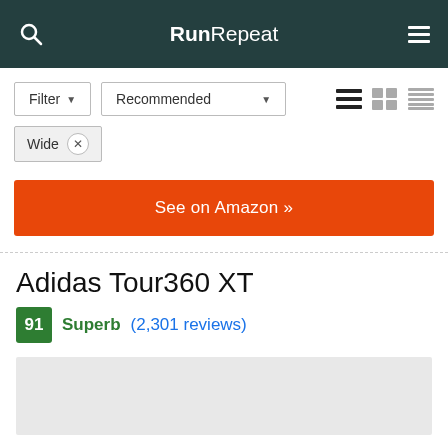RunRepeat
Filter ▾   Recommended ▾
Wide ×
See on Amazon »
Adidas Tour360 XT
91  Superb  (2,301 reviews)
[Figure (photo): Product image placeholder (gray box)]